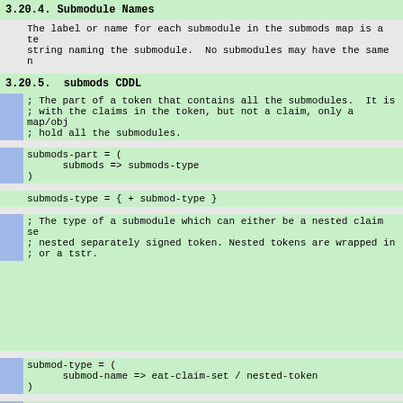3.20.4.  Submodule Names
The label or name for each submodule in the submods map is a te
string naming the submodule.  No submodules may have the same n
3.20.5.  submods CDDL
; The part of a token that contains all the submodules.  It is
; with the claims in the token, but not a claim, only a map/obj
; hold all the submodules.
submods-part = (
      submods => submods-type
)
submods-type = { + submod-type }
; The type of a submodule which can either be a nested claim se
; nested separately signed token. Nested tokens are wrapped in
; or a tstr.
submod-type = (
      submod-name => eat-claim-set / nested-token
)
; When this is a bstr, the contents are an eat-token in CWT or
; format.  When this is a tstr, the contents are an eat-token i
; format.